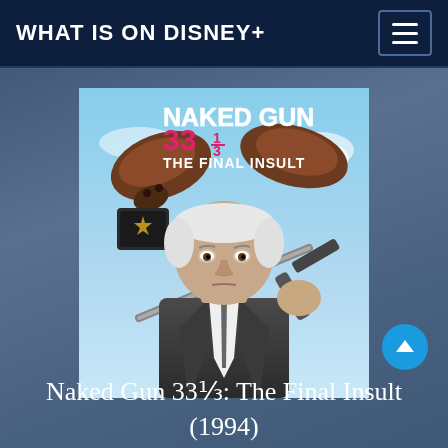WHAT IS ON DISNEY+
[Figure (photo): Movie poster for Naked Gun 33⅓: The Final Insult (1994) featuring actor Leslie Nielsen in a suit holding a gun, with oversized shoes visible and sky background. Title text 'NAKED GUN 33⅓ THE FINAL INSULT' shown in bold white and pink lettering.]
Naked Gun 33⅓: The Final Insult (1994)